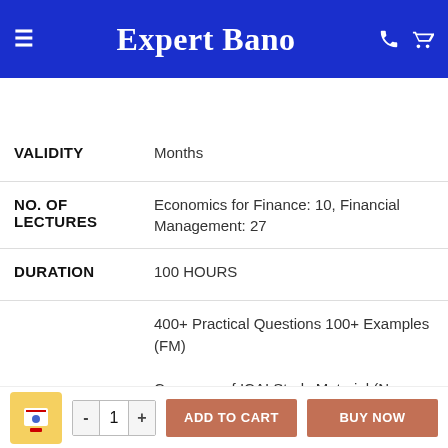Expert Bano
VALIDITY — Months
NO. OF LECTURES — Economics for Finance: 10, Financial Management: 27
DURATION — 100 HOURS
COVERAGE — 400+ Practical Questions 100+ Examples (FM) Coverage of ICAI Study Material (New course updated) Coverage of Previous Year Questions (1998 – Till now)
ADD TO CART  BUY NOW